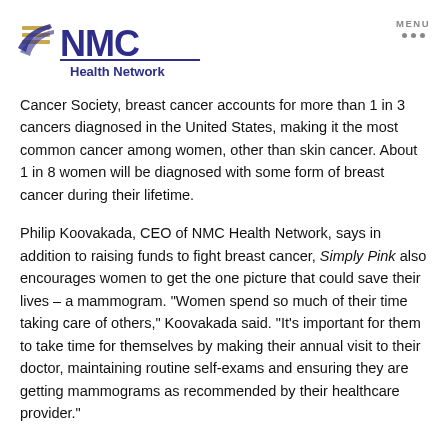[Figure (logo): NMC Health Network logo with stylized eagle/flag icon in gold and purple, NMC text in large purple letters, and 'Health Network' in bold purple below]
Cancer Society, breast cancer accounts for more than 1 in 3 cancers diagnosed in the United States, making it the most common cancer among women, other than skin cancer. About 1 in 8 women will be diagnosed with some form of breast cancer during their lifetime.
Philip Koovakada, CEO of NMC Health Network, says in addition to raising funds to fight breast cancer, Simply Pink also encourages women to get the one picture that could save their lives – a mammogram. “Women spend so much of their time taking care of others,” Koovakada said. “It’s important for them to take time for themselves by making their annual visit to their doctor, maintaining routine self-exams and ensuring they are getting mammograms as recommended by their healthcare provider.”